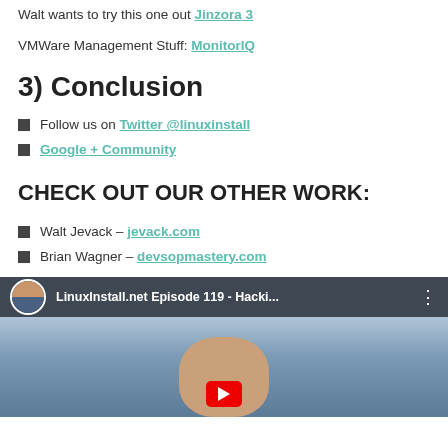Walt wants to try this one out Jinzora 3
VMWare Management Stuff: MonitorIQ
3) Conclusion
Follow us on Twitter @linuxinstall
Google + Community
CHECK OUT OUR OTHER WORK:
Walt Jevack – jevack.com
Brian Wagner – devsopmastery.com
[Figure (screenshot): Video thumbnail for LinuxInstall.net Episode 119 - Hacki... with a profile avatar, video title bar, and a face visible in the video frame with a red play button overlay.]